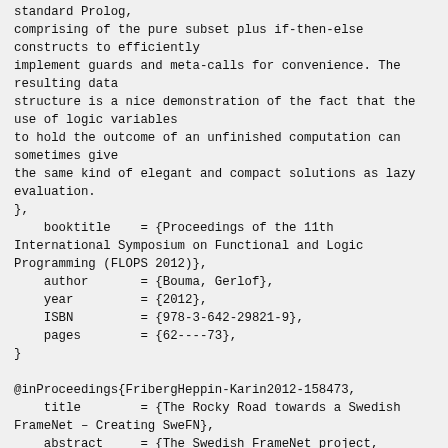standard Prolog,
comprising of the pure subset plus if-then-else
constructs to efficiently
implement guards and meta-calls for convenience. The
resulting data
structure is a nice demonstration of the fact that the
use of logic variables
to hold the outcome of an unfinished computation can
sometimes give
the same kind of elegant and compact solutions as lazy
evaluation.
},
    booktitle    = {Proceedings of the 11th
International Symposium on Functional and Logic
Programming (FLOPS 2012)},
    author       = {Bouma, Gerlof},
    year         = {2012},
    ISBN         = {978-3-642-29821-9},
    pages        = {62----73},
}

@inProceedings{FribergHeppin-Karin2012-158473,
    title        = {The Rocky Road towards a Swedish
FrameNet – Creating SweFN},
    abstract     = {The Swedish FrameNet project,
SweFN, is a lexical resource under development,